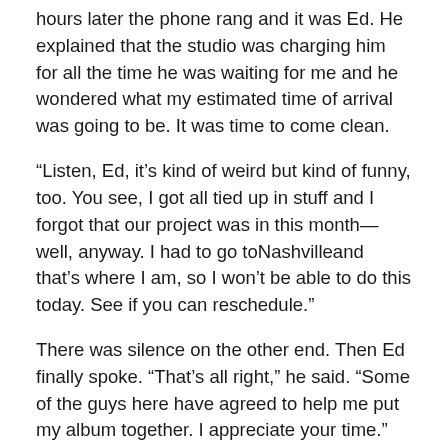hours later the phone rang and it was Ed. He explained that the studio was charging him for all the time he was waiting for me and he wondered what my estimated time of arrival was going to be. It was time to come clean.
“Listen, Ed, it’s kind of weird but kind of funny, too. You see, I got all tied up in stuff and I forgot that our project was in this month—well, anyway. I had to go toNashvilleand that’s where I am, so I won’t be able to do this today. See if you can reschedule.”
There was silence on the other end. Then Ed finally spoke. “That’s all right,” he said. “Some of the guys here have agreed to help me put my album together. I appreciate your time.”
Ed hung up. I thought about his words. He appreciated my time. I had no time for Ed. Matter of fact, my dear friends,